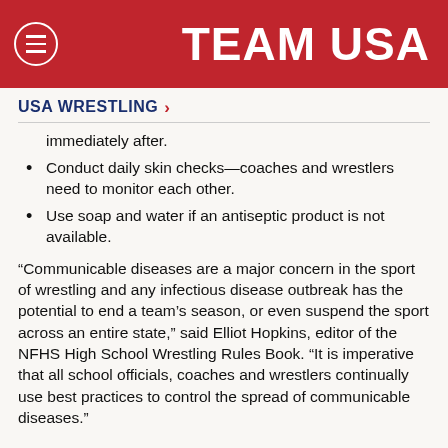TEAM USA
USA WRESTLING >
immediately after.
Conduct daily skin checks—coaches and wrestlers need to monitor each other.
Use soap and water if an antiseptic product is not available.
“Communicable diseases are a major concern in the sport of wrestling and any infectious disease outbreak has the potential to end a team’s season, or even suspend the sport across an entire state,” said Elliot Hopkins, editor of the NFHS High School Wrestling Rules Book. “It is imperative that all school officials, coaches and wrestlers continually use best practices to control the spread of communicable diseases.”